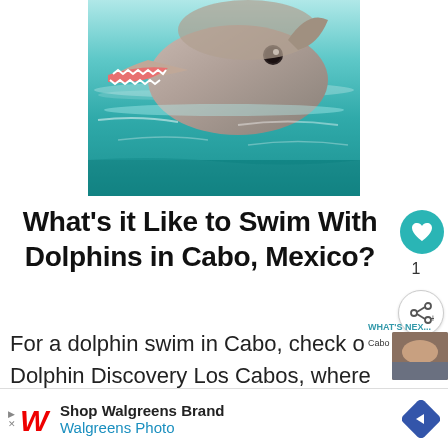[Figure (photo): A dolphin with open mouth showing teeth, swimming in turquoise/teal water, close-up shot]
What’s it Like to Swim With Dolphins in Cabo, Mexico?
For a dolphin swim in Cabo, check out Dolphin Discovery Los Cabos, where the
[Figure (other): Advertisement banner: Shop Walgreens Brand / Walgreens Photo with Walgreens logo and navigation arrow icon]